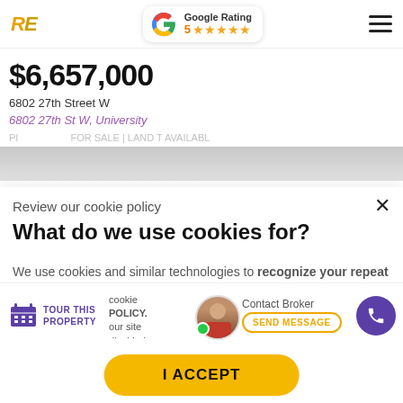[Figure (logo): RE logo in gold/yellow italic letters]
[Figure (infographic): Google Rating badge showing 5 stars]
[Figure (other): Hamburger menu icon (three horizontal lines)]
$6,657,000
6802 27th Street W
6802 27th St W, University
PI FOR SALE | LAND T AVAILABL
Review our cookie policy
What do we use cookies for?
We use cookies and similar technologies to recognize your repeat visits and preferences, as well as to measure the effectiveness of campaigns and analyze traffic. To
TOUR THIS PROPERTY
cookie POLICY. our site disabled.
Contact Broker
SEND MESSAGE
I ACCEPT